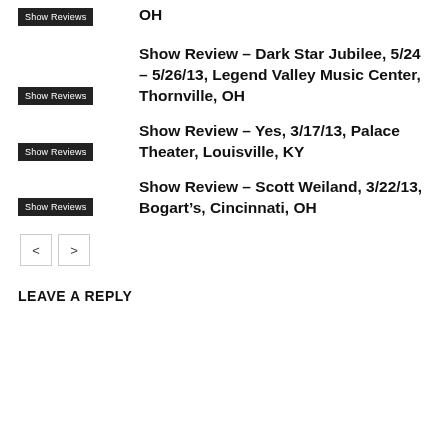OH
Show Review – Dark Star Jubilee, 5/24 – 5/26/13, Legend Valley Music Center, Thornville, OH
Show Review – Yes, 3/17/13, Palace Theater, Louisville, KY
Show Review – Scott Weiland, 3/22/13, Bogart's, Cincinnati, OH
< >
LEAVE A REPLY